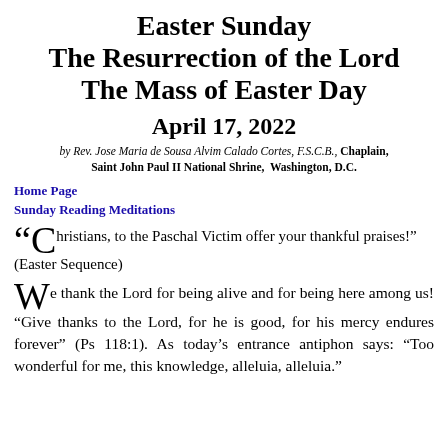Easter Sunday The Resurrection of the Lord The Mass of Easter Day
April 17, 2022
by Rev. Jose Maria de Sousa Alvim Calado Cortes, F.S.C.B., Chaplain, Saint John Paul II National Shrine, Washington, D.C.
Home Page
Sunday Reading Meditations
“Christians, to the Paschal Victim offer your thankful praises!” (Easter Sequence)
We thank the Lord for being alive and for being here among us! “Give thanks to the Lord, for he is good, for his mercy endures forever” (Ps 118:1). As today’s entrance antiphon says: “Too wonderful for me, this knowledge, alleluia, alleluia.”